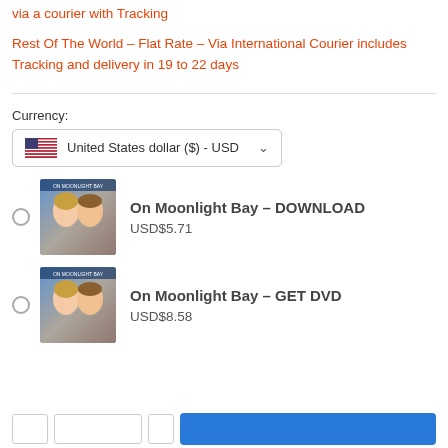via a courier with Tracking
Rest Of The World – Flat Rate – Via International Courier includes Tracking and delivery in 19 to 22 days
Currency:
United States dollar ($) - USD
On Moonlight Bay – DOWNLOAD
USD$5.71
On Moonlight Bay – GET DVD
USD$8.58